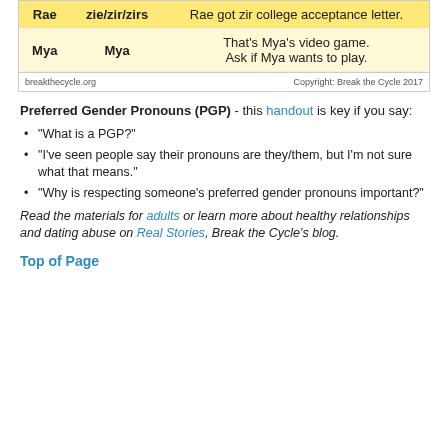| Name | Pronouns | Example |
| --- | --- | --- |
| Rae | zie/zir/zirs | Rae got zir college acceptance letter. |
| Mya | Mya | That's Mya's video game. Ask if Mya wants to play. |
breakthecycle.org     Copyright: Break the Cycle 2017
Preferred Gender Pronouns (PGP) - this handout is key if you say:
"What is a PGP?"
"I've seen people say their pronouns are they/them, but I'm not sure what that means."
"Why is respecting someone's preferred gender pronouns important?"
Read the materials for adults or learn more about healthy relationships and dating abuse on Real Stories, Break the Cycle's blog.
Top of Page